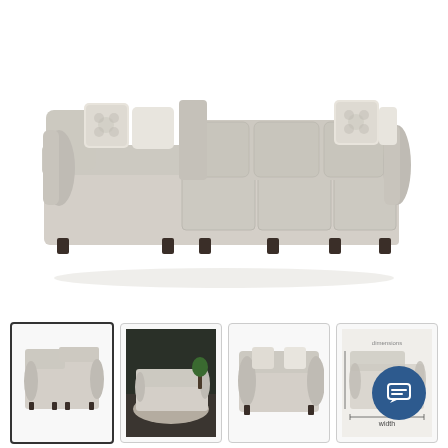[Figure (photo): Main product image of a large beige/cream sectional sofa with rolled arms, chaise on the left side, three-piece configuration, with decorative throw pillows in cream and floral patterns, on a white background.]
[Figure (photo): Thumbnail 1 (selected): Same beige sectional sofa front view on white background, with border indicating selection.]
[Figure (photo): Thumbnail 2: Sectional sofa shown in a styled dark-walled living room setting with rug and plants.]
[Figure (photo): Thumbnail 3: Close-up of chaise portion of the sectional sofa on white background.]
[Figure (photo): Thumbnail 4: Alternate angle or dimension view of the sectional sofa with dimension lines overlay, partially obscured by chat button.]